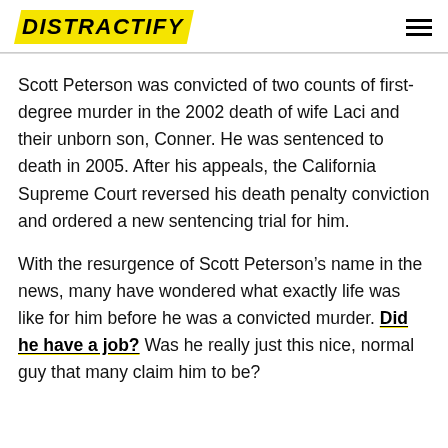DISTRACTIFY
Scott Peterson was convicted of two counts of first-degree murder in the 2002 death of wife Laci and their unborn son, Conner. He was sentenced to death in 2005. After his appeals, the California Supreme Court reversed his death penalty conviction and ordered a new sentencing trial for him.
With the resurgence of Scott Peterson’s name in the news, many have wondered what exactly life was like for him before he was a convicted murder. Did he have a job? Was he really just this nice, normal guy that many claim him to be?